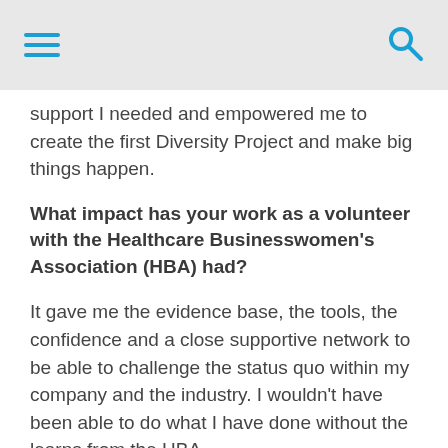Navigation header with hamburger menu and search icon
support I needed and empowered me to create the first Diversity Project and make big things happen.
What impact has your work as a volunteer with the Healthcare Businesswomen's Association (HBA) had?
It gave me the evidence base, the tools, the confidence and a close supportive network to be able to challenge the status quo within my company and the industry. I wouldn't have been able to do what I have done without the learns from the HBA.
What do you hope 2020 and beyond will